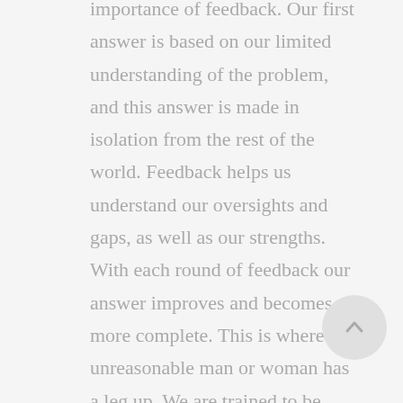importance of feedback. Our first answer is based on our limited understanding of the problem, and this answer is made in isolation from the rest of the world. Feedback helps us understand our oversights and gaps, as well as our strengths. With each round of feedback our answer improves and becomes more complete. This is where the unreasonable man or woman has a leg up. We are trained to be thinkers first — to front-end our time buried in books or in our heads, until we decide on the “right” answer and finally take action. But entrepreneurs can concurrently take action while